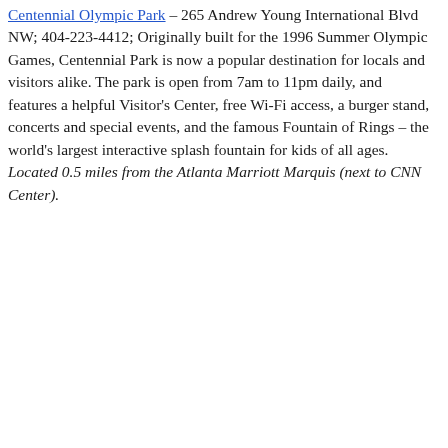Centennial Olympic Park – 265 Andrew Young International Blvd NW; 404-223-4412; Originally built for the 1996 Summer Olympic Games, Centennial Park is now a popular destination for locals and visitors alike. The park is open from 7am to 11pm daily, and features a helpful Visitor's Center, free Wi-Fi access, a burger stand, concerts and special events, and the famous Fountain of Rings – the world's largest interactive splash fountain for kids of all ages. Located 0.5 miles from the Atlanta Marriott Marquis (next to CNN Center).